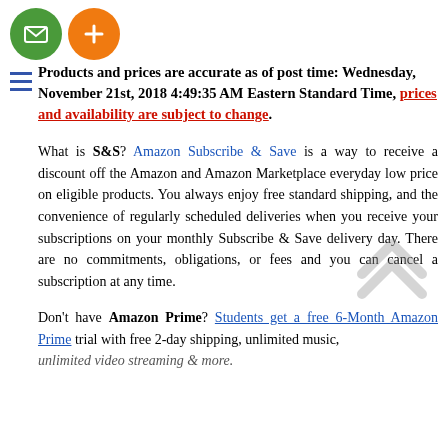[Figure (other): Green circle icon with email/envelope symbol and orange circle icon with plus sign]
Products and prices are accurate as of post time: Wednesday, November 21st, 2018 4:49:35 AM Eastern Standard Time, prices and availability are subject to change.
What is S&S? Amazon Subscribe & Save is a way to receive a discount off the Amazon and Amazon Marketplace everyday low price on eligible products. You always enjoy free standard shipping, and the convenience of regularly scheduled deliveries when you receive your subscriptions on your monthly Subscribe & Save delivery day. There are no commitments, obligations, or fees and you can cancel a subscription at any time.
Don't have Amazon Prime? Students get a free 6-Month Amazon Prime trial with free 2-day shipping, unlimited music, unlimited video streaming & more.